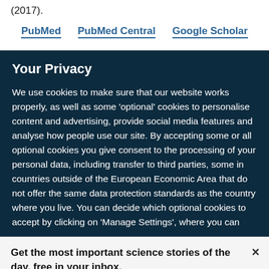(2017).
PubMed   PubMed Central   Google Scholar
Your Privacy
We use cookies to make sure that our website works properly, as well as some 'optional' cookies to personalise content and advertising, provide social media features and analyse how people use our site. By accepting some or all optional cookies you give consent to the processing of your personal data, including transfer to third parties, some in countries outside of the European Economic Area that do not offer the same data protection standards as the country where you live. You can decide which optional cookies to accept by clicking on 'Manage Settings', where you can
Get the most important science stories of the day, free in your inbox.
Sign up for Nature Briefing